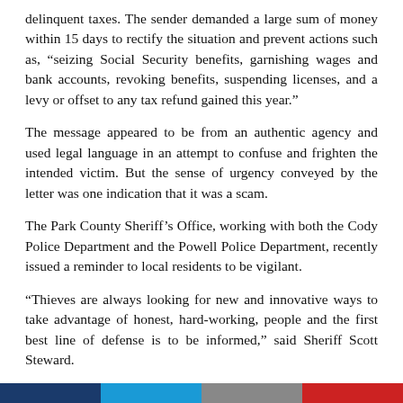delinquent taxes. The sender demanded a large sum of money within 15 days to rectify the situation and prevent actions such as, “seizing Social Security benefits, garnishing wages and bank accounts, revoking benefits, suspending licenses, and a levy or offset to any tax refund gained this year.”
The message appeared to be from an authentic agency and used legal language in an attempt to confuse and frighten the intended victim. But the sense of urgency conveyed by the letter was one indication that it was a scam.
The Park County Sheriff’s Office, working with both the Cody Police Department and the Powell Police Department, recently issued a reminder to local residents to be vigilant.
“Thieves are always looking for new and innovative ways to take advantage of honest, hard-working, people and the first best line of defense is to be informed,” said Sheriff Scott Steward.
If you receive correspondence in the mail remember to always double check, authorities advise to slow down and calm down before doing anything. Contact local offices with known numbers to verify the legitimacy of documents received.